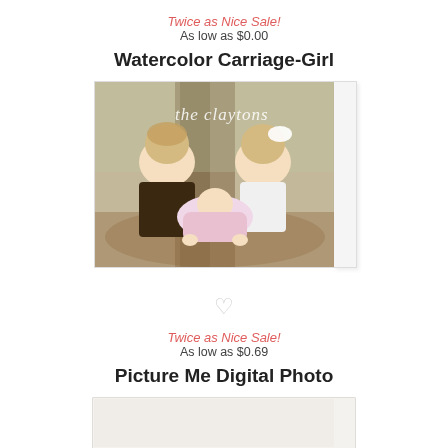Twice as Nice Sale!
As low as $0.00
Watercolor Carriage-Girl
[Figure (photo): A greeting card product featuring a photo of three children (two older children and a baby) sitting outdoors under a tree. White italic script text reads 'the claytons' overlaid on the photo. The card has a folded right edge suggesting a greeting card format.]
♡
Twice as Nice Sale!
As low as $0.69
Picture Me Digital Photo
[Figure (photo): Bottom portion of a second greeting card product, partially visible at the bottom of the page.]